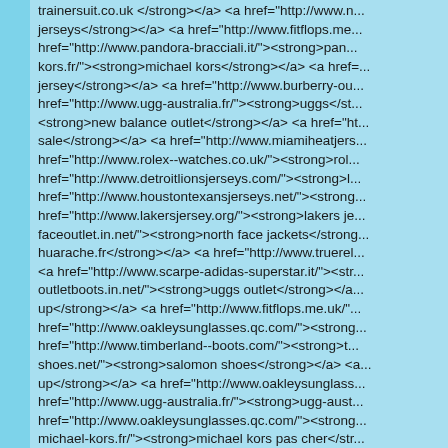trainersuit.co.uk </strong></a> <a href="http://www.n... jerseys</strong></a> <a href="http://www.fitflops.me... href="http://www.pandora-bracciali.it/"><strong>pan... kors.fr/"><strong>michael kors</strong></a> <a href=... jersey</strong></a> <a href="http://www.burberry-ou... href="http://www.ugg-australia.fr/"><strong>uggs</st... <strong>new balance outlet</strong></a> <a href="ht... sale</strong></a> <a href="http://www.miamiheatjers... href="http://www.rolex--watches.co.uk/"><strong>rol... href="http://www.detroitlionsjerseys.com/"><strong>... href="http://www.houstontexansjerseys.net/"><strong... href="http://www.lakersjersey.org/"><strong>lakers je... faceoutlet.in.net/"><strong>north face jackets</strong... huarache.fr</strong></a> <a href="http://www.truerel... <a href="http://www.scarpe-adidas-superstar.it/"><str... outletboots.in.net/"><strong>uggs outlet</strong></a... up</strong></a> <a href="http://www.fitflops.me.uk/"... href="http://www.oakleysunglasses.qc.com/"><strong... href="http://www.timberland--boots.com/"><strong>t... shoes.net/"><strong>salomon shoes</strong></a> <a... up</strong></a> <a href="http://www.oakleysunglass... href="http://www.ugg-australia.fr/"><strong>ugg-aust... href="http://www.oakleysunglasses.qc.com/"><strong... michael-kors.fr/"><strong>michael kors pas cher</str... <strong>burberry sale</strong></a> <a href="http://w... href="http://www.macmakeupuk.co.uk/"><strong>ma... <strong>flip flops</strong></a> <a href="http://www...